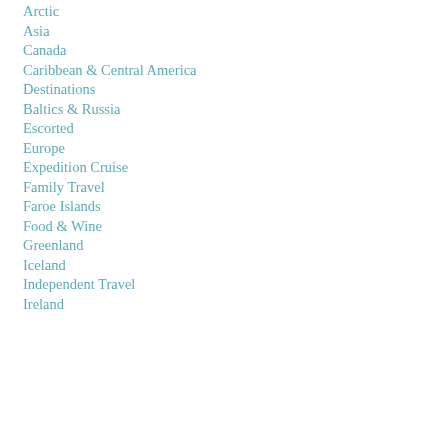Arctic
Asia
Canada
Caribbean & Central America
Destinations
Baltics & Russia
Escorted
Europe
Expedition Cruise
Family Travel
Faroe Islands
Food & Wine
Greenland
Iceland
Independent Travel
Ireland